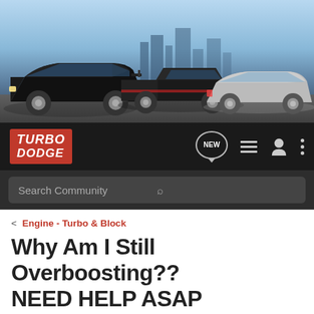[Figure (photo): Banner showing three Dodge cars (black sports car on left, black pickup truck in center, silver sedan on right) on a rooftop with city skyline background]
TURBO DODGE
Search Community
< Engine - Turbo & Block
Why Am I Still Overboosting?? NEED HELP ASAP
→ Jump to Latest
+ Follow
1 - 18 of 18 Posts